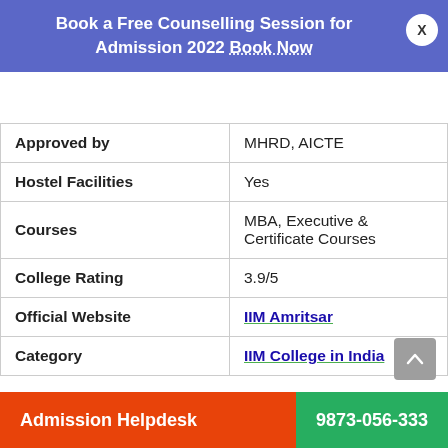Book a Free Counselling Session for Admission 2022 Book Now  X
| Field | Value |
| --- | --- |
| Approved by | MHRD, AICTE |
| Hostel Facilities | Yes |
| Courses | MBA, Executive & Certificate Courses |
| College Rating | 3.9/5 |
| Official Website | IIM Amritsar |
| Category | IIM College in India |
Admission Helpdesk  9873-056-333